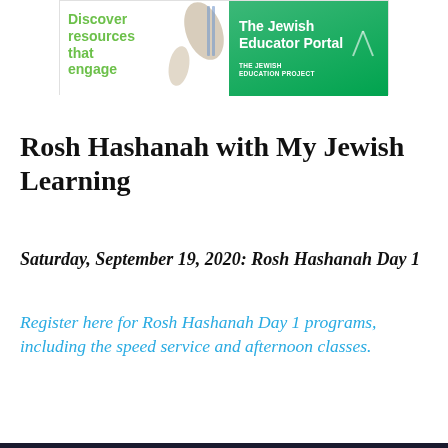[Figure (illustration): Advertisement banner for The Jewish Educator Portal showing 'Discover resources that engage' text on the left with a shofar image, and a green background on the right with 'The Jewish Educator Portal' and 'The Jewish Education Project' logo.]
Rosh Hashanah with My Jewish Learning
Saturday, September 19, 2020: Rosh Hashanah Day 1
Register here for Rosh Hashanah Day 1 programs, including the speed service and afternoon classes.